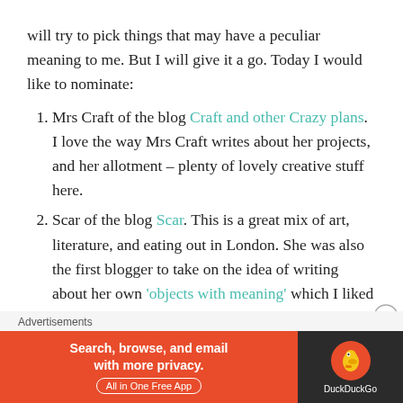will try to pick things that may have a peculiar meaning to me. But I will give it a go. Today I would like to nominate:
Mrs Craft of the blog Craft and other Crazy plans. I love the way Mrs Craft writes about her projects, and her allotment – plenty of lovely creative stuff here.
Scar of the blog Scar. This is a great mix of art, literature, and eating out in London. She was also the first blogger to take on the idea of writing about her own 'objects with meaning' which I liked very much, in this post here.
A new blogger, and blog at Smwiddio. I have been
Advertisements
[Figure (infographic): DuckDuckGo advertisement banner: orange left panel with text 'Search, browse, and email with more privacy. All in One Free App', dark right panel with DuckDuckGo duck logo and brand name.]